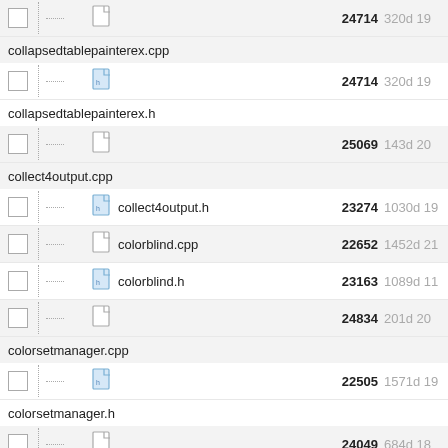collapsedtablepainterex.cpp — 24714 — 320d 19
collapsedtablepainterex.h — 24714 — 320d 19
collect4output.cpp — 25069 — 143d 20
collect4output.h — 23274 — 1030d 19
colorblind.cpp — 22652 — 1452d 21
colorblind.h — 23163 — 1089d 11
colorsetmanager.cpp — 24834 — 201d 20
colorsetmanager.h — 22505 — 1571d 19
commonstrings.cpp — 24049 — 684d 18
commonstrings.h — 24049 — 684d 18
deferredtask.cpp — 23682 — 837d 21
deferredtask.h — 23682 — 837d 21